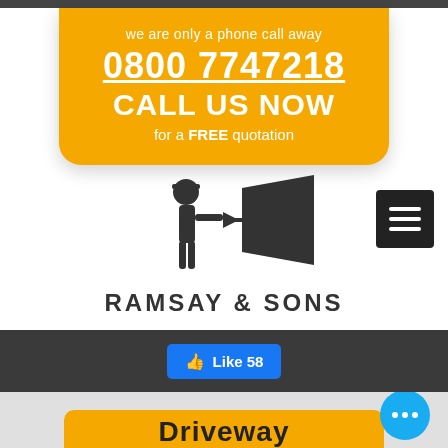we are only a phone call away
0800 7747218
CALL US NOW
for a FREE quotation
[Figure (logo): Ramsay & Sons logo: silhouette of a person with a sprayer and a megaphone/loudspeaker triangle shape, above the text RAMSAY & SONS]
RAMSAY & SONS
Like 58
Driveway